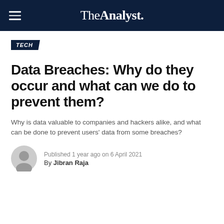The Analyst.
TECH
Data Breaches: Why do they occur and what can we do to prevent them?
Why is data valuable to companies and hackers alike, and what can be done to prevent users’ data from some breaches?
Published 1 year ago on 6 April 2021
By Jibran Raja